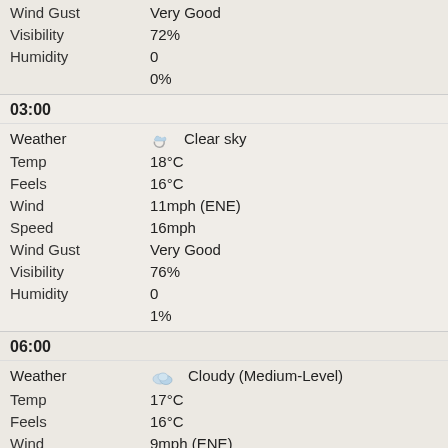| Wind Gust | Very Good |
| Visibility | 72% |
| Humidity | 0 |
|  | 0% |
03:00
| Weather | Clear sky |
| Temp | 18°C |
| Feels | 16°C |
| Wind | 11mph (ENE) |
| Speed | 16mph |
| Wind Gust | Very Good |
| Visibility | 76% |
| Humidity | 0 |
|  | 1% |
06:00
| Weather | Cloudy (Medium-Level) |
| Temp | 17°C |
| Feels | 16°C |
| Wind | 9mph (ENE) |
| Speed | 16mph |
| Wind Gust | Very Good |
| Visibility | 77% |
| Humidity | 1 |
|  | 4% |